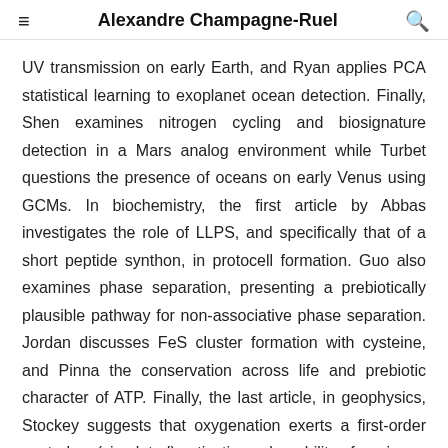Alexandre Champagne-Ruel
UV transmission on early Earth, and Ryan applies PCA statistical learning to exoplanet ocean detection. Finally, Shen examines nitrogen cycling and biosignature detection in a Mars analog environment while Turbet questions the presence of oceans on early Venus using GCMs. In biochemistry, the first article by Abbas investigates the role of LLPS, and specifically that of a short peptide synthon, in protocell formation. Guo also examines phase separation, presenting a prebiotically plausible pathway for non-associative phase separation. Jordan discusses FeS cluster formation with cysteine, and Pinna the conservation across life and prebiotic character of ATP. Finally, the last article, in geophysics, Stockey suggests that oxygenation exerts a first-order control on (simulated) extinction vulnerability of marine